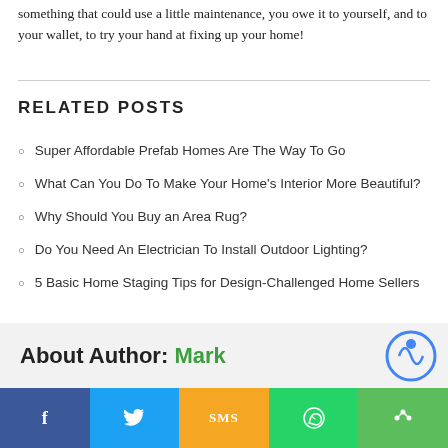something that could use a little maintenance, you owe it to yourself, and to your wallet, to try your hand at fixing up your home!
RELATED POSTS
Super Affordable Prefab Homes Are The Way To Go
What Can You Do To Make Your Home's Interior More Beautiful?
Why Should You Buy an Area Rug?
Do You Need An Electrician To Install Outdoor Lighting?
5 Basic Home Staging Tips for Design-Challenged Home Sellers
About Author: Mark
[Figure (other): Social share bar with Facebook, Twitter, SMS, WhatsApp, and share buttons]